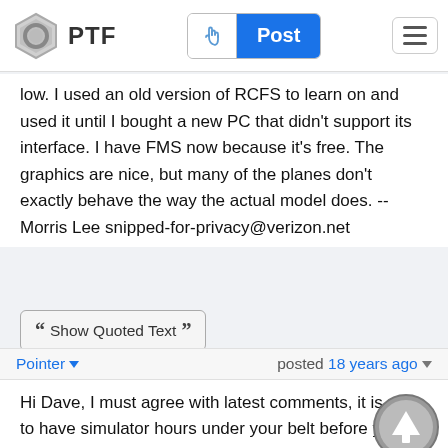PTF — Post button — Menu
low. I used an old version of RCFS to learn on and used it until I bought a new PC that didn't support its interface. I have FMS now because it's free. The graphics are nice, but many of the planes don't exactly behave the way the actual model does. -- Morris Lee snipped-for-privacy@verizon.net
Show Quoted Text
Click here to reply without account
Pointer  posted 18 years ago
Hi Dave, I must agree with latest comments, it is nice to have simulator hours under your belt before you